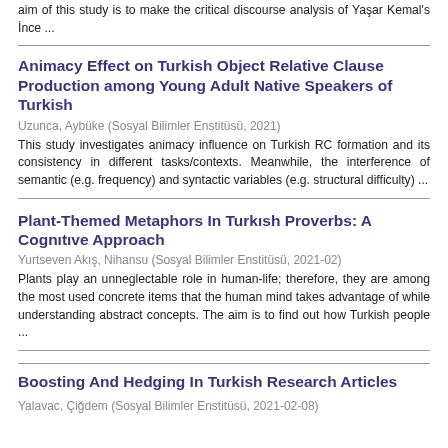aim of this study is to make the critical discourse analysis of Yaşar Kemal's İnce ...
Animacy Effect on Turkish Object Relative Clause Production among Young Adult Native Speakers of Turkish
Uzunca, Aybüke (Sosyal Bilimler Enstitüsü, 2021)
This study investigates animacy influence on Turkish RC formation and its consistency in different tasks/contexts. Meanwhile, the interference of semantic (e.g. frequency) and syntactic variables (e.g. structural difficulty) ...
Plant-Themed Metaphors In Turkısh Proverbs: A Cognıtıve Approach
Yurtseven Akış, Nihansu (Sosyal Bilimler Enstitüsü, 2021-02)
Plants play an unneglectable role in human-life; therefore, they are among the most used concrete items that the human mind takes advantage of while understanding abstract concepts. The aim is to find out how Turkish people ...
Boosting And Hedging In Turkish Research Articles
Yalavac, Çiğdem (Sosyal Bilimler Enstitüsü, 2021-02-08)